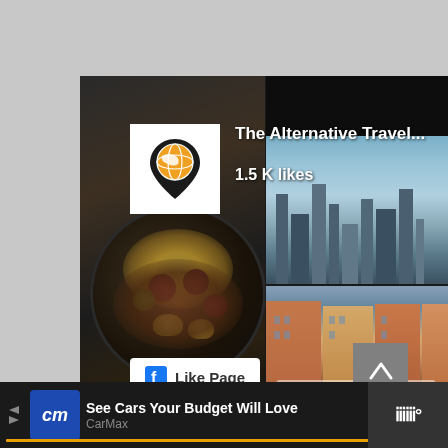[Figure (screenshot): Facebook page like widget for 'The Alternative Travel...' showing 1.5 K likes. Left half shows a dark food photography with a bowl of figs, banana slices, and other fruits. Right half shows two travel photos: top is a city skyline, bottom is colorful European buildings with a market square. A 'Like Page' button with Facebook logo appears at bottom left. A scroll-to-top arrow button appears at bottom right.]
[Figure (screenshot): Bottom advertisement bar for CarMax with blue 'cm' logo icon, text 'See Cars Your Budget Will Love' and 'CarMax', a blue diamond navigation icon, and a weather widget on the far right showing temperature symbol.]